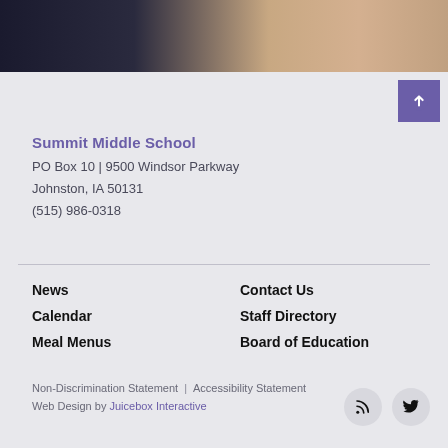[Figure (photo): Partial photo showing a person pointing at a document or book, dark background on left and light on right]
Summit Middle School
PO Box 10 | 9500 Windsor Parkway
Johnston, IA 50131
(515) 986-0318
News
Calendar
Meal Menus
Contact Us
Staff Directory
Board of Education
Non-Discrimination Statement | Accessibility Statement
Web Design by Juicebox Interactive